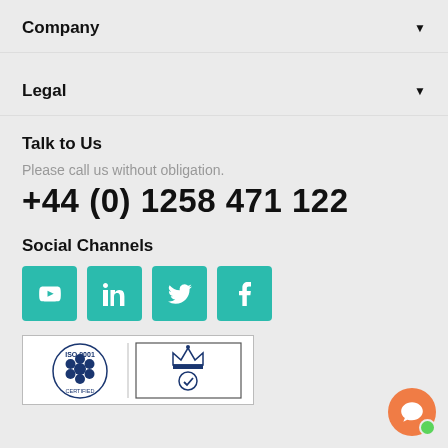Company
Legal
Talk to Us
Please call us without obligation.
+44 (0) 1258 471 122
Social Channels
[Figure (infographic): Four teal square social media icon buttons: YouTube, LinkedIn, Twitter, Facebook]
[Figure (logo): ISO 9001 certification badge and a royal/government quality mark certification badge]
[Figure (other): Orange chat bubble icon with green online dot in bottom-right corner]